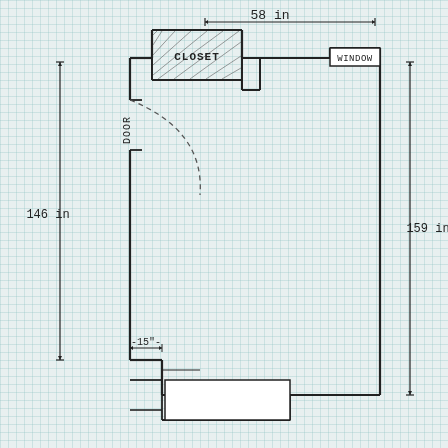[Figure (engineering-diagram): Hand-drawn floor plan of a room on graph paper. The room has a closet in the upper-left area, a window in the upper-right, a door with a swing arc on the left wall. Dimensions: 58 inches wide (top), 146 inches tall on the left side, 159 inches tall on the right side. A 15-inch wide protrusion/step is shown on the lower-left wall. Furniture or built-in elements visible at the bottom.]